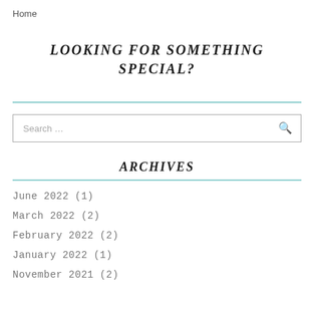Home
LOOKING FOR SOMETHING SPECIAL?
Search …
ARCHIVES
June 2022 (1)
March 2022 (2)
February 2022 (2)
January 2022 (1)
November 2021 (2)